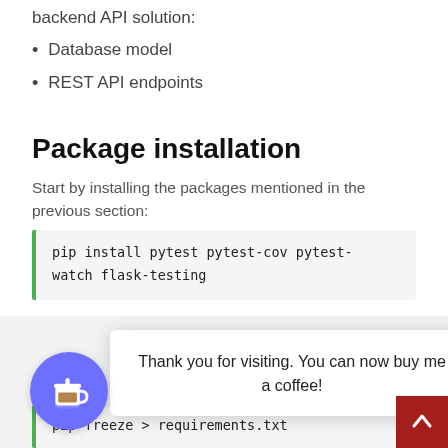backend API solution:
Database model
REST API endpoints
Package installation
Start by installing the packages mentioned in the previous section:
pip install pytest pytest-cov pytest-watch flask-testing
pip freeze > requirements.txt